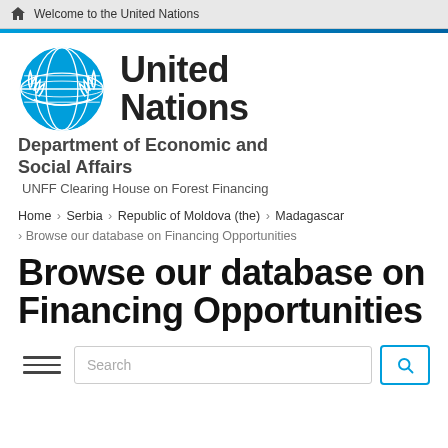Welcome to the United Nations
[Figure (logo): United Nations emblem logo in blue with laurel wreath]
United Nations
Department of Economic and Social Affairs
UNFF Clearing House on Forest Financing
Home › Serbia › Republic of Moldova (the) › Madagascar › Browse our database on Financing Opportunities
Browse our database on Financing Opportunities